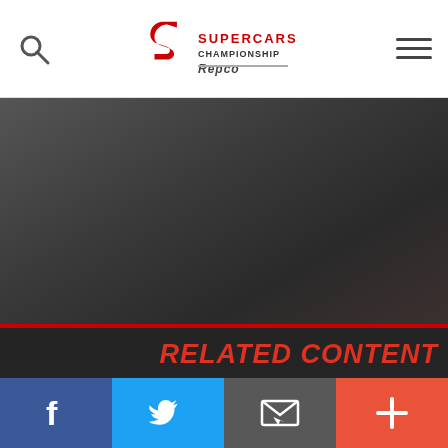Supercars Championship Repco
[Figure (screenshot): Dark hero image area with gradient background in grey tones]
RELATED CONTENT
Craig Lowndes ›
[Figure (infographic): Bottom social bar with Facebook, Twitter, email, and plus buttons]